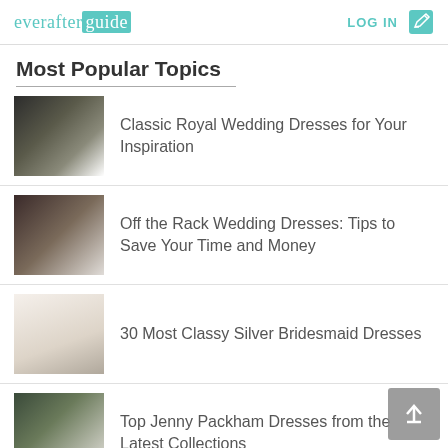everafterguide LOG IN
Most Popular Topics
Classic Royal Wedding Dresses for Your Inspiration
Off the Rack Wedding Dresses: Tips to Save Your Time and Money
30 Most Classy Silver Bridesmaid Dresses
Top Jenny Packham Dresses from the Latest Collections
(partial item — image only visible)